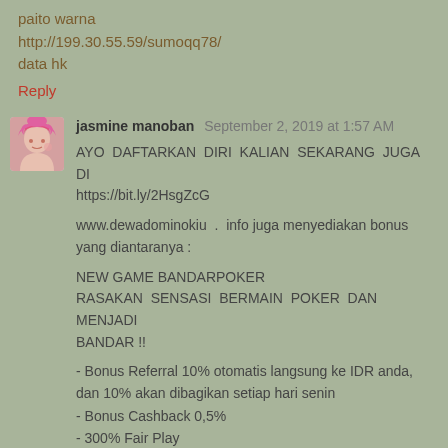paito warna
http://199.30.55.59/sumoqq78/
data hk
Reply
jasmine manoban  September 2, 2019 at 1:57 AM
AYO DAFTARKAN DIRI KALIAN SEKARANG JUGA DI https://bit.ly/2HsgZcG
www.dewadominokiu . info juga menyediakan bonus yang diantaranya :
NEW GAME BANDARPOKER
RASAKAN SENSASI BERMAIN POKER DAN MENJADI BANDAR !!
- Bonus Referral 10% otomatis langsung ke IDR anda, dan 10% akan dibagikan setiap hari senin
- Bonus Cashback 0,5%
- 300% Fair Play
- NO ROBOT & ADMIN